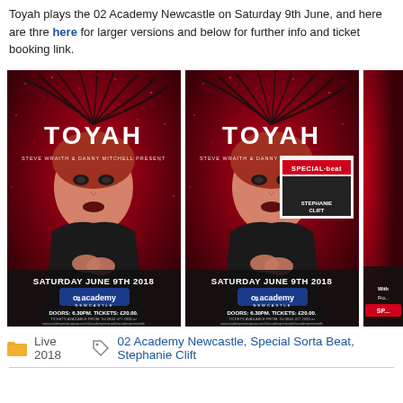Toyah plays the 02 Academy Newcastle on Saturday 9th June, and here are thre here for larger versions and below for further info and ticket booking link.
[Figure (photo): Concert poster for Toyah at O2 Academy Newcastle, Saturday June 9th 2018. Red glitter background with Toyah in black outfit with hands clasped. Text: STEVE WRAITH & DANNY MITCHELL PRESENT TOYAH. SATURDAY JUNE 9TH 2018. O2 Academy Newcastle. DOORS: 6.30PM. TICKETS: £20.00. TICKETS AVAILABLE FROM: Tel 0844 477 2000 or www.academymusicgroup.com/o2academynewcastle/academynewcastle]
[Figure (photo): Second concert poster for Toyah at O2 Academy Newcastle, Saturday June 9th 2018. Same design as first but includes Special Sorta Beat and Stephanie Clift support act information overlay.]
[Figure (photo): Partial third concert poster, partially cropped on right edge.]
Live 2018   O2 Academy Newcastle, Special Sorta Beat, Stephanie Clift